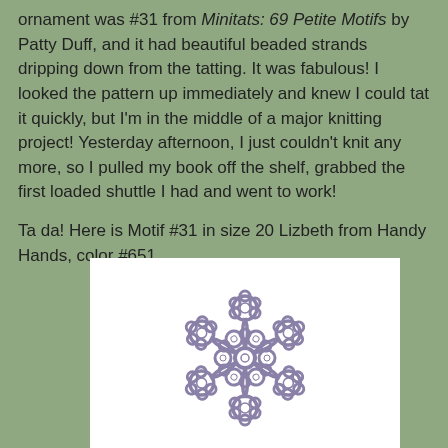ornament was #31 from Minitats: 69 Petite Motifs by Patty Duff, and it had beautiful beaded strands dripping down from the tatting. It was fabulous! I looked the pattern up immediately and knew I could tat it quickly, but I'm in the middle of a major knitting project! Yesterday afternoon, I just couldn't knit any more, so I pulled my book off the shelf, grabbed the first loaded shuttle I had and went to work!

Ta da! Here is Motif #31 in size 20 Lizbeth from Handy Hands, color #651.
[Figure (photo): A purple/lavender tatted lace motif (Motif #31) showing a snowflake or star-shaped pattern made with tatting technique, featuring small flower-like rings with white bead centers arranged in a circular star pattern, photographed on a white background.]